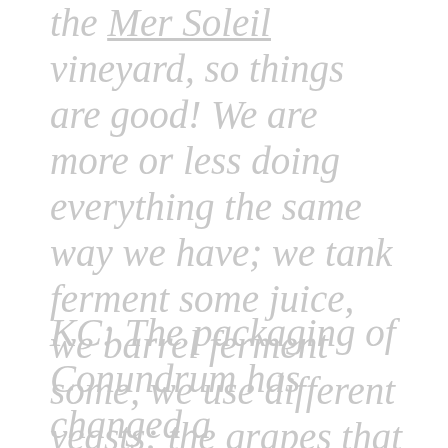the Mer Soleil vineyard, so things are good! We are more or less doing everything the same way we have; we tank ferment some juice, we barrel ferment some, we use different yeasts; the grapes that are grown at Mer Soleil are all from different types of vines on different soils. We still use the same source when we buy our Muscat grapes, the same source we have been using since 1989, because we have a really good relationship with him and he grows our Muscat just how we want it. We also get our Sauvignon Blanc from Napa, just premium Sauv Blanc and Chuck has been very adamant about retaining the relationships with those growers. We can get Sauvignon Blanc anywhere we want it, but good Sauv Blanc really fits the mould.
KC: The packaging of Conundrum has changed a